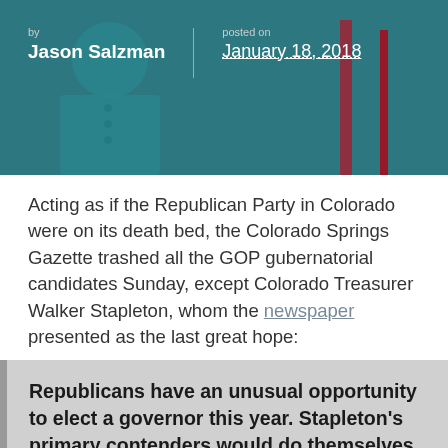[Figure (photo): Background photo of a person in a teal/turquoise jacket at a podium, with overlaid byline and posted-on date metadata. By Jason Salzman, posted on January 18, 2018.]
by Jason Salzman
posted on January 18, 2018
Acting as if the Republican Party in Colorado were on its death bed, the Colorado Springs Gazette trashed all the GOP gubernatorial candidates Sunday, except Colorado Treasurer Walker Stapleton, whom the newspaper presented as the last great hope:
Republicans have an unusual opportunity to elect a governor this year. Stapleton’s primary contenders would do themselves and their party a favor by selflessly clearing the field and helping him win